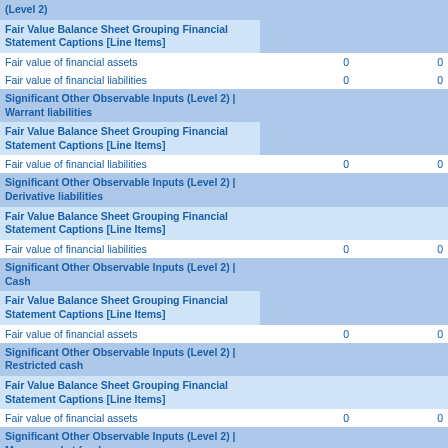|  |  |  |
| --- | --- | --- |
| (Level 2) |  |  |
| Fair Value Balance Sheet Grouping Financial Statement Captions [Line Items] |  |  |
| Fair value of financial assets | 0 | 0 |
| Fair value of financial liabilities | 0 | 0 |
| Significant Other Observable Inputs (Level 2) | Warrant liabilities |  |  |
| Fair Value Balance Sheet Grouping Financial Statement Captions [Line Items] |  |  |
| Fair value of financial liabilities | 0 | 0 |
| Significant Other Observable Inputs (Level 2) | Derivative liabilities |  |  |
| Fair Value Balance Sheet Grouping Financial Statement Captions [Line Items] |  |  |
| Fair value of financial liabilities | 0 | 0 |
| Significant Other Observable Inputs (Level 2) | Cash |  |  |
| Fair Value Balance Sheet Grouping Financial Statement Captions [Line Items] |  |  |
| Fair value of financial assets | 0 | 0 |
| Significant Other Observable Inputs (Level 2) | Restricted cash |  |  |
| Fair Value Balance Sheet Grouping Financial Statement Captions [Line Items] |  |  |
| Fair value of financial assets | 0 | 0 |
| Significant Other Observable Inputs (Level 2) | Money market funds |  |  |